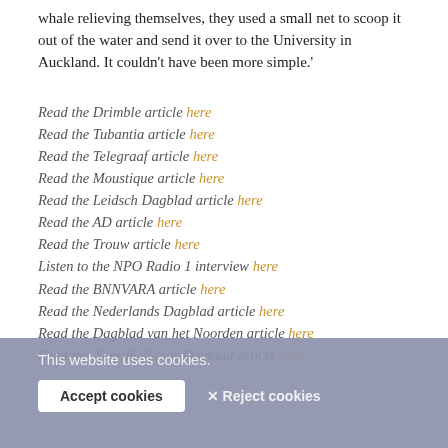whale relieving themselves, they used a small net to scoop it out of the water and send it over to the University in Auckland. It couldn't have been more simple.'
Read the Drimble article here
Read the Tubantia article here
Read the Telegraaf article here
Read the Moustique article here
Read the Leidsch Dagblad article here
Read the AD article here
Read the Trouw article here
Listen to the NPO Radio 1 interview here
Read the BNNVARA article here
Read the Nederlands Dagblad article here
Read the Dagblad van het Noorden article here
Read the Noordhollands Dagblad article here
This website uses cookies. [Accept cookies] [Reject cookies]